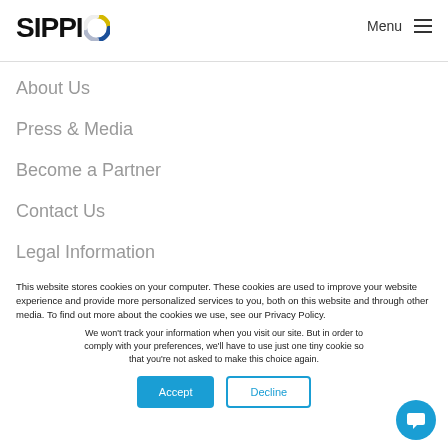[Figure (logo): SIPPIO logo with colorful circular icon]
Menu
About Us
Press & Media
Become a Partner
Contact Us
Legal Information
This website stores cookies on your computer. These cookies are used to improve your website experience and provide more personalized services to you, both on this website and through other media. To find out more about the cookies we use, see our Privacy Policy.
We won't track your information when you visit our site. But in order to comply with your preferences, we'll have to use just one tiny cookie so that you're not asked to make this choice again.
Accept
Decline